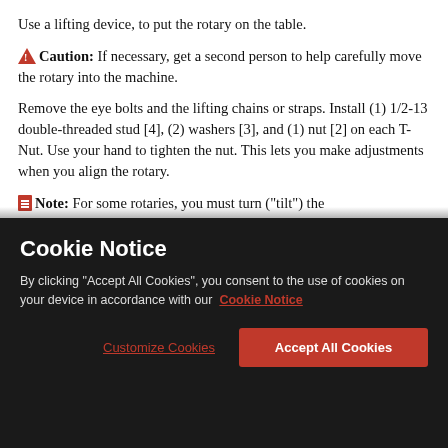Use a lifting device, to put the rotary on the table.
Caution: If necessary, get a second person to help carefully move the rotary into the machine.
Remove the eye bolts and the lifting chains or straps. Install (1) 1/2-13 double-threaded stud [4], (2) washers [3], and (1) nut [2] on each T-Nut. Use your hand to tighten the nut. This lets you make adjustments when you align the rotary.
Note: For some rotaries, you must turn (“tilt”) the
Cookie Notice
By clicking “Accept All Cookies”, you consent to the use of cookies on your device in accordance with our Cookie Notice
Customize Cookies
Accept All Cookies